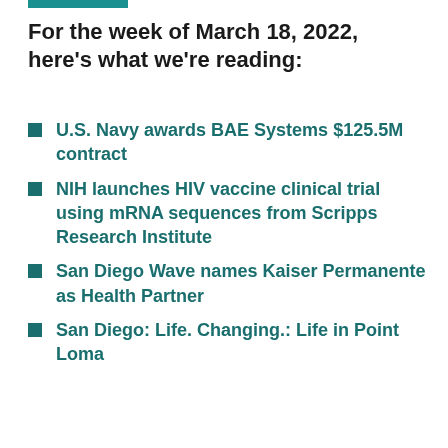For the week of March 18, 2022, here's what we're reading:
U.S. Navy awards BAE Systems $125.5M contract
NIH launches HIV vaccine clinical trial using mRNA sequences from Scripps Research Institute
San Diego Wave names Kaiser Permanente as Health Partner
San Diego: Life. Changing.: Life in Point Loma